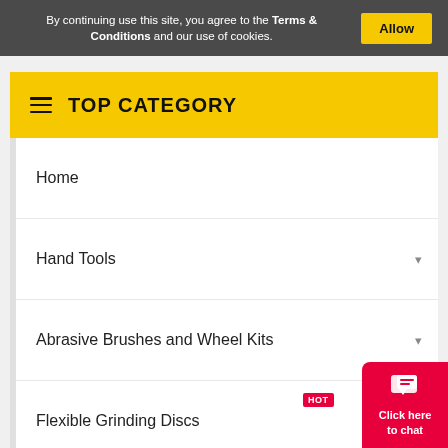By continuing use this site, you agree to the Terms & Conditions and our use of cookies.
TOP CATEGORY
Home
Hand Tools
Abrasive Brushes and Wheel Kits
Flexible Grinding Discs HOT
Silicon Carbide Wheels
Circular Saw Adda
Click here to chat